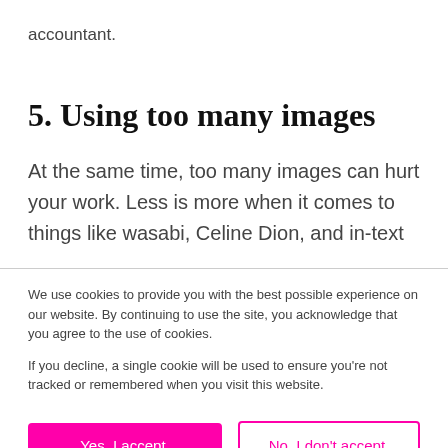accountant.
5. Using too many images
At the same time, too many images can hurt your work. Less is more when it comes to things like wasabi, Celine Dion, and in-text
We use cookies to provide you with the best possible experience on our website. By continuing to use the site, you acknowledge that you agree to the use of cookies.

If you decline, a single cookie will be used to ensure you're not tracked or remembered when you visit this website.